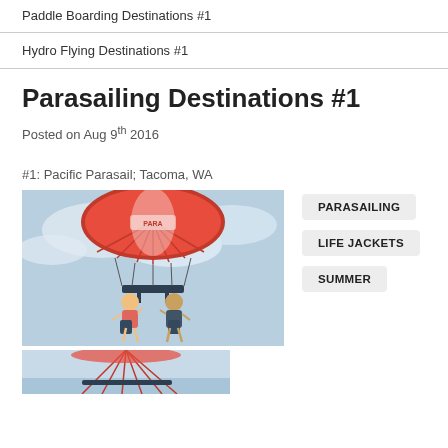Paddle Boarding Destinations #1
Hydro Flying Destinations #1
Parasailing Destinations #1
Posted on Aug 9th 2016
#1: Pacific Parasail; Tacoma, WA
[Figure (photo): Two people parasailing under a large red parachute against a cloudy sky]
PARASAILING
LIFE JACKETS
SUMMER
[Figure (photo): Partial view of parasailing equipment and red parachute strings from below]